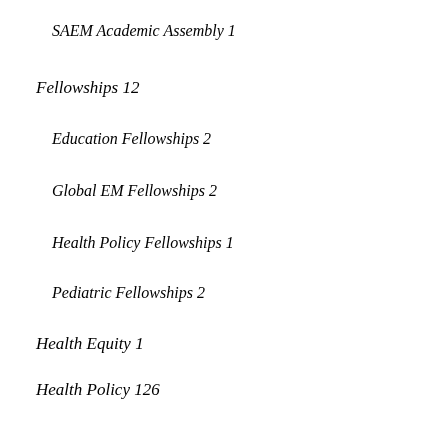SAEM Academic Assembly 1
Fellowships 12
Education Fellowships 2
Global EM Fellowships 2
Health Policy Fellowships 1
Pediatric Fellowships 2
Health Equity 1
Health Policy 126
Advocacy 44
Affordable Care Act 7